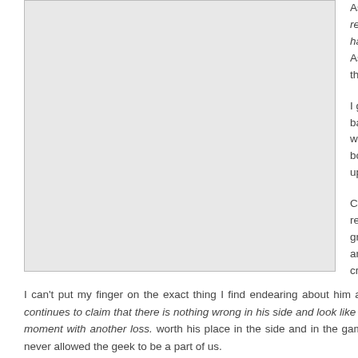[Figure (photo): Large image placeholder with light gray background]
Ashes live after 5 reason they were had ). I woke up e Ashes and then I s the hell out of the A

I get that he is a c back to sleep afte wake up that early bowler to death bu upon the most to b

Cook is the essen research, compile grade so that you and scrabble into cricket matches.
I can't put my finger on the exact thing I find endearing about him and his appro feeling won't last if he continues to claim that there is nothing wrong in his side and look like a Barbie who will burst into tears any moment with another loss. worth his place in the side and in the game, an earnest desire to fit in ; but w never allowed the geek to be a part of us.
He has no attractive quality whatsoever to be placed among the batting greats 26 and already has 19 100s and 26 50s (It is a different issue that I can't reco